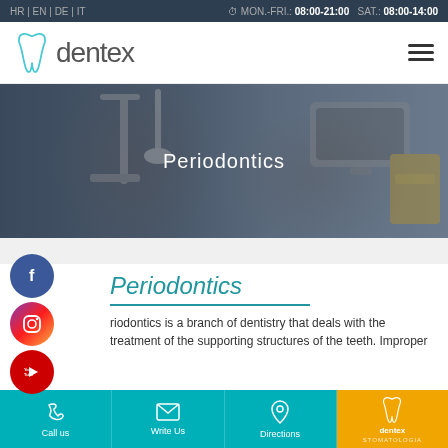HR | EN | DE | IT   MON.-FRI.: 08:00-21:00  SAT.: 08:00-14:00
[Figure (logo): Dentex dental clinic logo with tooth icon and 'dentex' wordmark]
[Figure (photo): Dental clinic interior with equipment, dark overlay. Title: Periodontics]
Periodontics
Periodontics is a branch of dentistry that deals with the treatment of the supporting structures of the teeth. Improper
Call us   Write Us   Directions   dentex